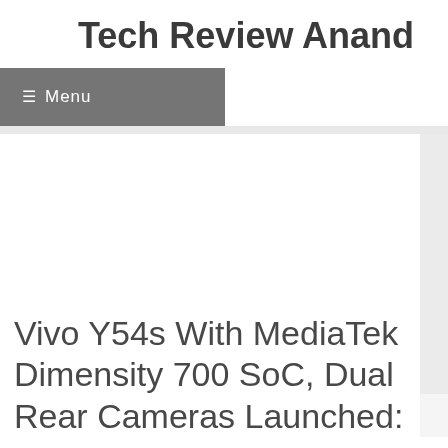Tech Review Anand
☰ Menu
Vivo Y54s With MediaTek Dimensity 700 SoC, Dual Rear Cameras Launched: